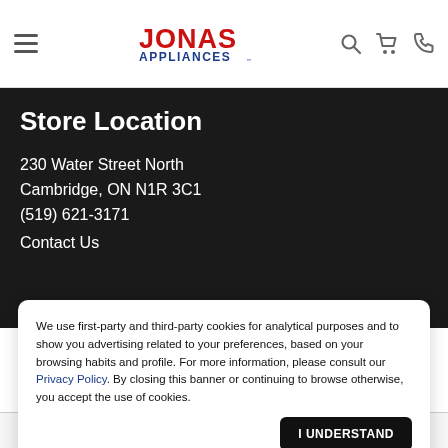Jonas Appliances — navigation header with logo, hamburger menu, search, cart, and phone icons
Store Location
230 Water Street North
Cambridge, ON N1R 3C1
(519) 621-3171
Contact Us
We use first-party and third-party cookies for analytical purposes and to show you advertising related to your preferences, based on your browsing habits and profile. For more information, please consult our Privacy Policy. By closing this banner or continuing to browse otherwise, you accept the use of cookies.
I UNDERSTAND
Email Address